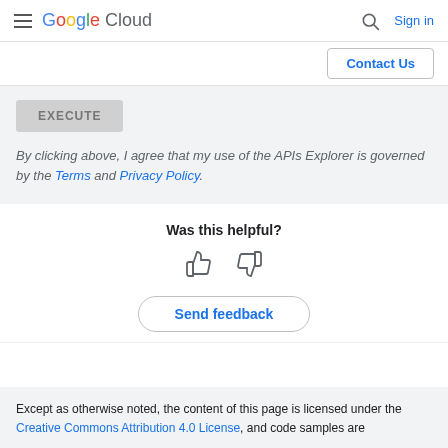Google Cloud  Sign in
Contact Us
EXECUTE
By clicking above, I agree that my use of the APIs Explorer is governed by the Terms and Privacy Policy.
Was this helpful?
[Figure (illustration): Thumbs up and thumbs down feedback icons]
Send feedback
Except as otherwise noted, the content of this page is licensed under the Creative Commons Attribution 4.0 License, and code samples are